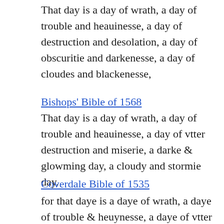That day is a day of wrath, a day of trouble and heauinesse, a day of destruction and desolation, a day of obscuritie and darkenesse, a day of cloudes and blackenesse,
Bishops' Bible of 1568
That day is a day of wrath, a day of trouble and heauinesse, a day of vtter destruction and miserie, a darke & glowming day, a cloudy and stormie day.
Coverdale Bible of 1535
for that daye is a daye of wrath, a daye of trouble & heuynesse, a daye of vtter destruccion & mysery, a darcke & glomynge daye, a cloudy & stormy daye,